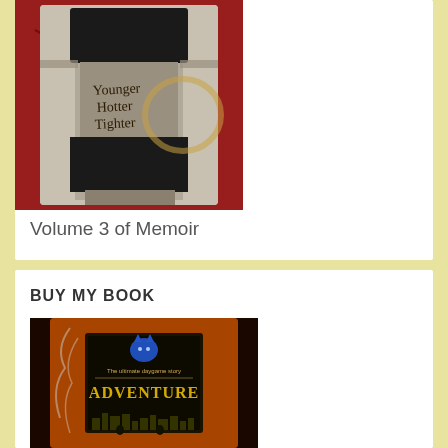[Figure (photo): Book cover photo showing a woman in a bikini top with handwritten text 'Younger Hotter Tighter' on her stomach, placed on a red marble surface with a coffee stain ring]
Volume 3 of Memoir
BUY MY BOOK
[Figure (photo): Book cover for 'Adventure' described as 'The ultimate daygame story', showing a whiskey bottle aesthetic with orange/amber tones, a blue fox logo, and city skyline silhouette at the bottom]